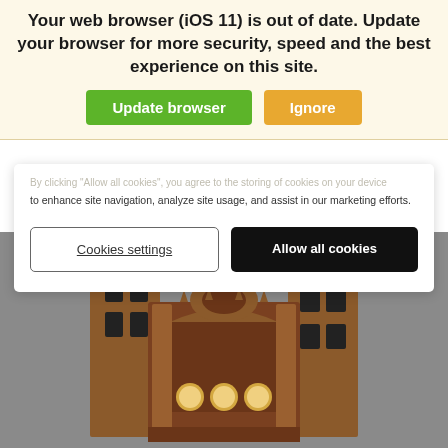Your web browser (iOS 11) is out of date. Update your browser for more security, speed and the best experience on this site.
Update browser | Ignore
to enhance site navigation, analyze site usage, and assist in our marketing efforts.
Cookies settings | Allow all cookies
[Figure (photo): Ornate wooden architectural model or sculpture resembling a cathedral or palace facade with two towers, arched windows, and decorative elements, photographed against a gray background.]